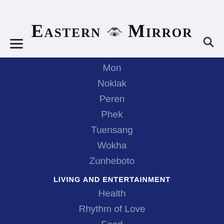Eastern Mirror
Mon
Noklak
Peren
Phek
Tuensang
Wokha
Zunheboto
LIVING AND ENTERTAINMENT
Health
Rhythm of Love
Food
Fashion